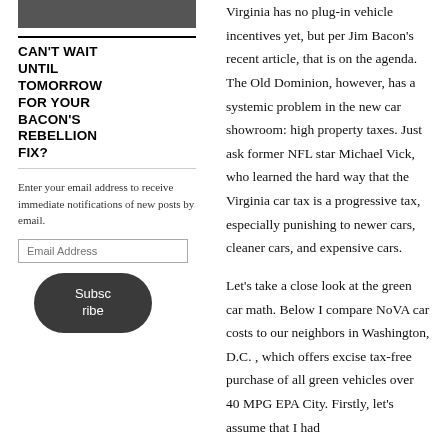[Figure (photo): Partial image of a car or vehicle at the top of the left sidebar column]
CAN'T WAIT UNTIL TOMORROW FOR YOUR BACON'S REBELLION FIX?
Enter your email address to receive immediate notifications of new posts by email.
Email Address
Subscribe
Virginia has no plug-in vehicle incentives yet, but per Jim Bacon's recent article, that is on the agenda. The Old Dominion, however, has a systemic problem in the new car showroom: high property taxes. Just ask former NFL star Michael Vick, who learned the hard way that the Virginia car tax is a progressive tax, especially punishing to newer cars, cleaner cars, and expensive cars.
Let's take a close look at the green car math. Below I compare NoVA car costs to our neighbors in Washington, D.C. , which offers excise tax-free purchase of all green vehicles over 40 MPG EPA City. Firstly, let's assume that I had purchased the fore...